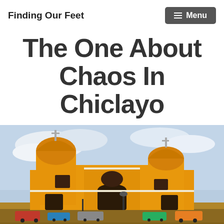Finding Our Feet | Menu
The One About Chaos In Chiclayo
[Figure (photo): A large yellow colonial cathedral with two domed towers topped with crosses, ornate white trim detailing, set against a partly cloudy blue sky. Cars and street lamps visible in the foreground plaza.]